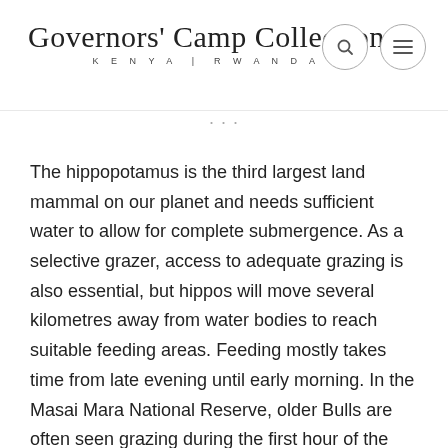Governors' Camp Collection KENYA | RWANDA
The hippopotamus is the third largest land mammal on our planet and needs sufficient water to allow for complete submergence. As a selective grazer, access to adequate grazing is also essential, but hippos will move several kilometres away from water bodies to reach suitable feeding areas. Feeding mostly takes time from late evening until early morning. In the Masai Mara National Reserve, older Bulls are often seen grazing during the first hour of the morning game drives and will slowly make their